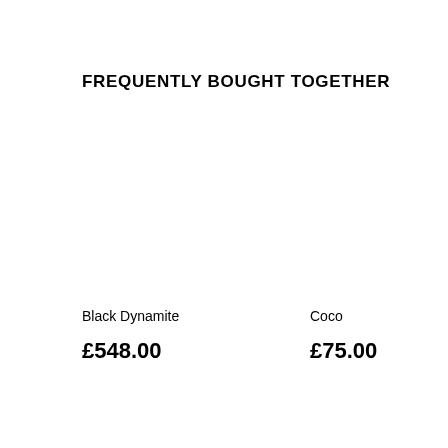FREQUENTLY BOUGHT TOGETHER
Black Dynamite
£548.00
Coco
£75.00